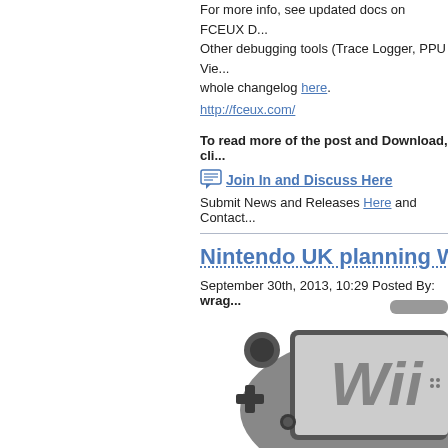For more info, see updated docs on FCEUX D... Other debugging tools (Trace Logger, PPU Vie... whole changelog here. http://fceux.com/
To read more of the post and Download, cli...
Join In and Discuss Here
Submit News and Releases Here and Contact...
Nintendo UK planning Wii...
September 30th, 2013, 10:29 Posted By: wrag...
[Figure (photo): Wii U GamePad controller partially visible in the lower right of the page]